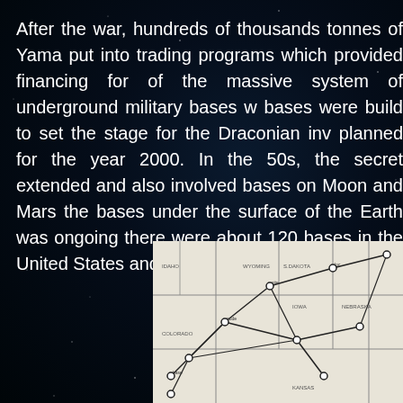After the war, hundreds of thousands tonnes of Yama put into trading programs which provided financing for of the massive system of underground military bases w bases were build to set the stage for the Draconian inv planned for the year 2000. In the 50s, the secret extended and also involved bases on Moon and Mars the bases under the surface of the Earth was ongoing there were about 120 bases in the United States and a worldwide.
[Figure (map): A black and white map showing underground military base network across the United States, with nodes connected by lines indicating tunnels or routes between locations.]